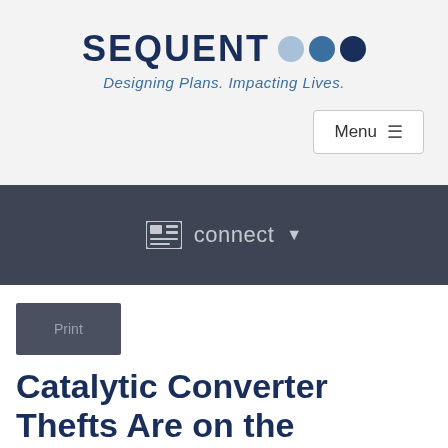[Figure (logo): Sequent logo with dark blue wordmark SEQUENT, three dots in light blue, medium blue, and dark navy, and tagline 'Designing Plans. Impacting Lives.' in italic blue]
Menu
connect
Print
Catalytic Converter Thefts Are on the